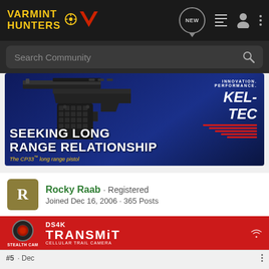Varmint Hunters
[Figure (screenshot): Search bar with text 'Search Community' and magnifying glass icon on dark background]
[Figure (advertisement): Kel-Tec CP33 long range pistol advertisement on dark blue background. Text reads: INNOVATION. PERFORMANCE. KEL-TEC. SEEKING LONG RANGE RELATIONSHIP. The CP33 long range pistol.]
Rocky Raab · Registered
Joined Dec 16, 2006 · 365 Posts
[Figure (advertisement): DS4K Stealth Cam Transmit Cellular Trail Camera advertisement on red background]
#5 · Dec